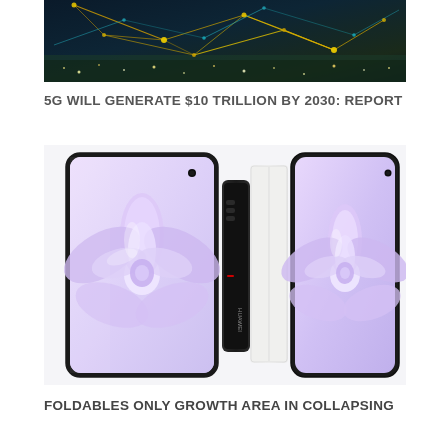[Figure (photo): Abstract technology network photo with glowing yellow and teal colored light lines and nodes on a dark background, city lights visible]
5G WILL GENERATE $10 TRILLION BY 2030: REPORT
[Figure (photo): Huawei foldable smartphone shown from multiple angles — open front view showing lavender flower wallpaper, side/hinge view in black, and folded closed view showing outer screen with same wallpaper]
FOLDABLES ONLY GROWTH AREA IN COLLAPSING